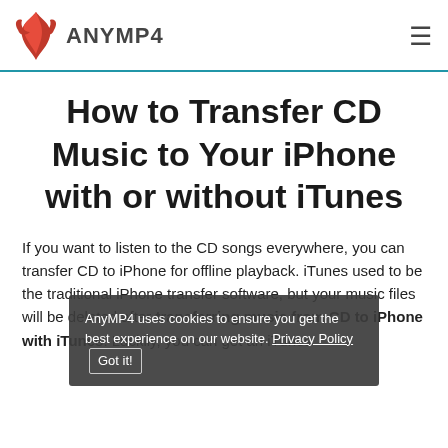ANYMP4
How to Transfer CD Music to Your iPhone with or without iTunes
If you want to listen to the CD songs everywhere, you can transfer CD to iPhone for offline playback. iTunes used to be the traditional iPhone transfer software, but your music files will be deleted after transferring music from CD to iPhone with iTunes. Luckily, you can get an iTunes
AnyMP4 uses cookies to ensure you get the best experience on our website. Privacy Policy Got it!